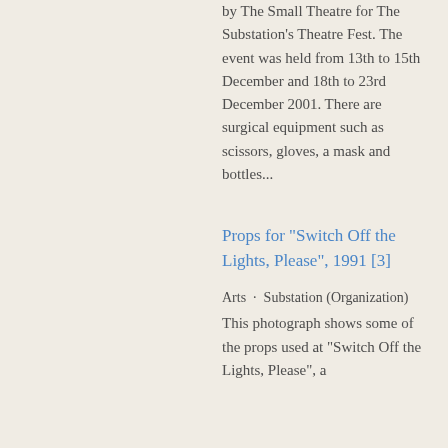by The Small Theatre for The Substation's Theatre Fest. The event was held from 13th to 15th December and 18th to 23rd December 2001. There are surgical equipment such as scissors, gloves, a mask and bottles...
Props for "Switch Off the Lights, Please", 1991 [3]
Arts · Substation (Organization)
This photograph shows some of the props used at "Switch Off the Lights, Please", a